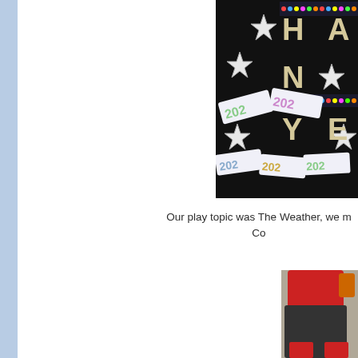[Figure (photo): Classroom bulletin board with 'Happy New Year' letters and star decorations and '2022' banners on a dark background, with fairy lights]
Our play topic was The Weather, we m... Co...
[Figure (photo): Child in red clothing sitting or crouching on a floor, partially visible, cropped at edges]